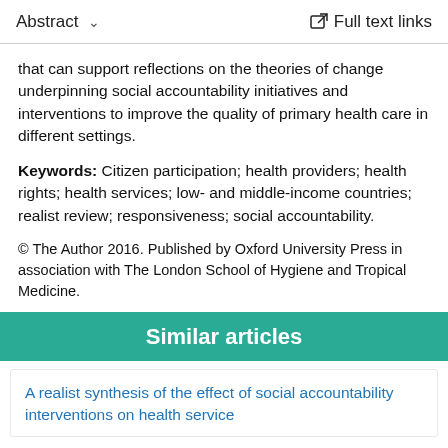Abstract   ∨   Full text links
that can support reflections on the theories of change underpinning social accountability initiatives and interventions to improve the quality of primary health care in different settings.
Keywords: Citizen participation; health providers; health rights; health services; low- and middle-income countries; realist review; responsiveness; social accountability.
© The Author 2016. Published by Oxford University Press in association with The London School of Hygiene and Tropical Medicine.
Similar articles
A realist synthesis of the effect of social accountability interventions on health service